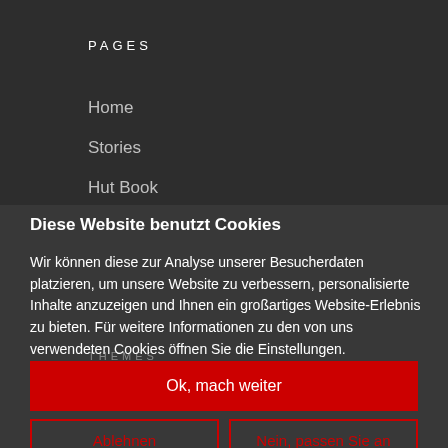PAGES
Home
Stories
Hut Book
Terms
Privacy Policy
Diese Website benutzt Cookies
Wir können diese zur Analyse unserer Besucherdaten platzieren, um unsere Website zu verbessern, personalisierte Inhalte anzuzeigen und Ihnen ein großartiges Website-Erlebnis zu bieten. Für weitere Informationen zu den von uns verwendeten Cookies öffnen Sie die Einstellungen.
THEMES
Behind-the-scenes (49)
Canning (80)
Landscape (56)